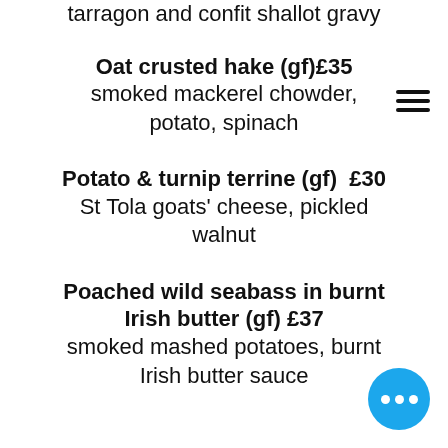tarragon and confit shallot gravy
Oat crusted hake (gf)£35
smoked mackerel chowder, potato, spinach
Potato & turnip terrine (gf)  £30
St Tola goats' cheese, pickled walnut
Poached wild seabass in burnt Irish butter (gf) £37
smoked mashed potatoes, burnt Irish butter sauce